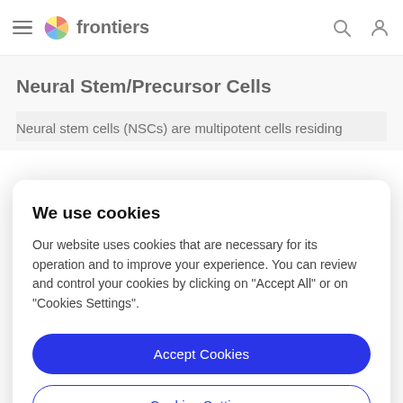frontiers
Neural Stem/Precursor Cells
Neural stem cells (NSCs) are multipotent cells residing
We use cookies
Our website uses cookies that are necessary for its operation and to improve your experience. You can review and control your cookies by clicking on "Accept All" or on "Cookies Settings".
Accept Cookies
Cookies Settings